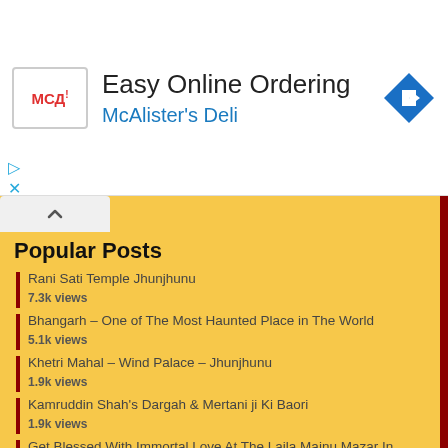[Figure (infographic): Advertisement banner for McAlister's Deli with logo, text 'Easy Online Ordering', 'McAlister's Deli', and a blue diamond arrow icon]
Popular Posts
Rani Sati Temple Jhunjhunu
7.3k views
Bhangarh – One of The Most Haunted Place in The World
5.1k views
Khetri Mahal – Wind Palace – Jhunjhunu
1.9k views
Kamruddin Shah's Dargah & Mertani ji Ki Baori
1.9k views
Get Blessed With Immortal Love At The Laila Majnu Mazar In Rajasthan
1.6k views
World Famous Dilwara Jain Temples Located at Mount Abu
1.4k views
Anandi Lal Poddar Haveli – Nawalgarh
1.3k views
Badalgarh Fort in Jhunjhunu
1.1k views
Jaipur's Handicrafts – A Wide Range Of Souvenirs
1k views
The Origin of Famous Kota Doria the Icon of Fashion
1k views
A Brief Hitory of Rajasthan
0.9k views